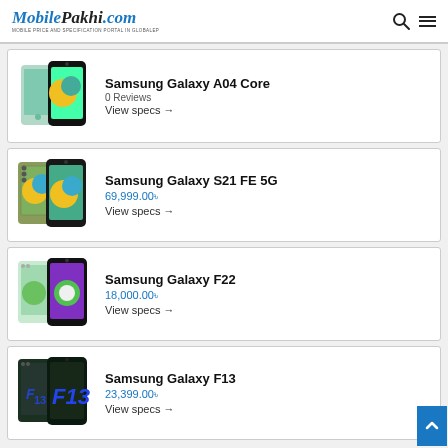MobilePakhi.com — MOBILE PRICE AND SPECIFICATION PORTAL IN GLOBALEP
Samsung Galaxy A04 Core — 0 Reviews — View specs →
Samsung Galaxy S21 FE 5G — 69,999.00৳ — View specs →
Samsung Galaxy F22 — 18,000.00৳ — View specs →
Samsung Galaxy F13 — 23,399.00৳ — View specs →